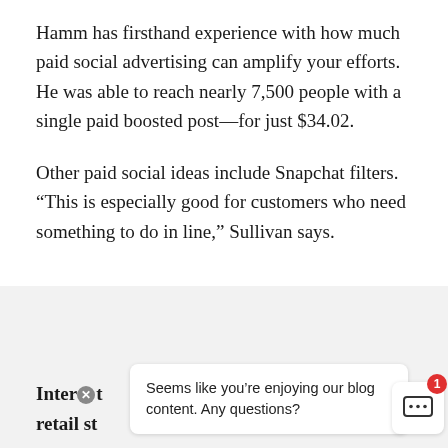Hamm has firsthand experience with how much paid social advertising can amplify your efforts. He was able to reach nearly 7,500 people with a single paid boosted post—for just $34.02.
Other paid social ideas include Snapchat filters. “This is especially good for customers who need something to do in line,” Sullivan says.
[Figure (screenshot): A partially visible chat widget overlay at the bottom of the page on a light gray background. Shows bold partial text 'Inter' and 'retail st' on the left. A white chat bubble reads 'Seems like you’re enjoying our blog content. Any questions?' A chat icon button with ellipsis and a red badge showing '1' are on the right.]